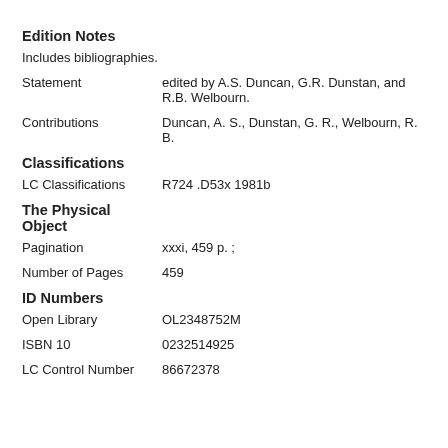Edition Notes
Includes bibliographies.
Statement
edited by A.S. Duncan, G.R. Dunstan, and R.B. Welbourn.
Contributions
Duncan, A. S., Dunstan, G. R., Welbourn, R. B.
Classifications
LC Classifications
R724 .D53x 1981b
The Physical Object
Pagination
xxxi, 459 p. ;
Number of Pages
459
ID Numbers
Open Library
OL2348752M
ISBN 10
0232514925
LC Control Number
86672378